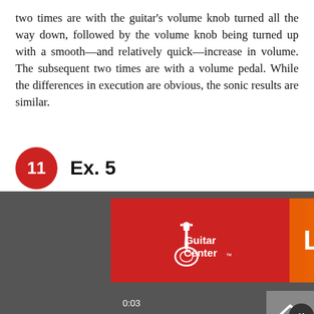two times are with the guitar's volume knob turned all the way down, followed by the volume knob being turned up with a smooth—and relatively quick—increase in volume. The subsequent two times are with a volume pedal. While the differences in execution are obvious, the sonic results are similar.
11  Ex. 5
Moderately slow ♩= 80
Csus4
With Volume Knob:
[Figure (screenshot): Guitar Center Labor Day Sale advertisement banner over a music video player showing sheet music. The ad has a red left panel with Guitar Center logo and an orange gradient right panel with 'LABOR DAY SALE' text. A timestamp of 0:03 is visible at the bottom.]